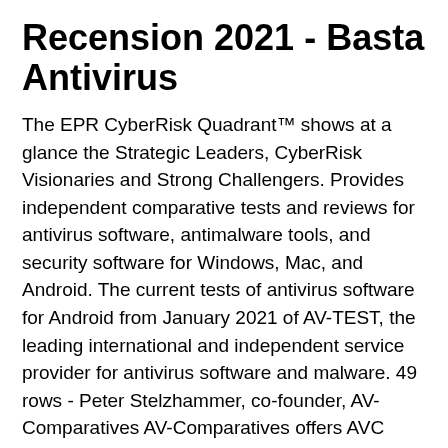Recension 2021 - Basta Antivirus
The EPR CyberRisk Quadrant™ shows at a glance the Strategic Leaders, CyberRisk Visionaries and Strong Challengers. Provides independent comparative tests and reviews for antivirus software, antimalware tools, and security software for Windows, Mac, and Android. The current tests of antivirus software for Android from January 2021 of AV-TEST, the leading international and independent service provider for antivirus software and malware. 49 rows - Peter Stelzhammer, co-founder, AV-Comparatives AV-Comparatives offers AVC UnDroid, a well-done malware analysis tool, which is available free to all users. It is a static analysis system for Bluesteeleffect Studios Antivirus Security Cleaner Pro; Panda Free Antivirus; Bsinisom Apps